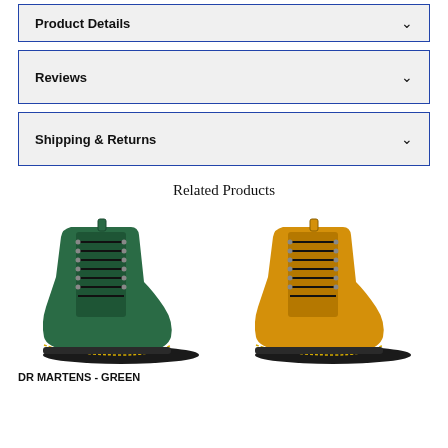Product Details
Reviews
Shipping & Returns
Related Products
[Figure (photo): Green Dr. Martens lace-up boot]
[Figure (photo): Yellow Dr. Martens lace-up boot]
DR MARTENS - GREEN